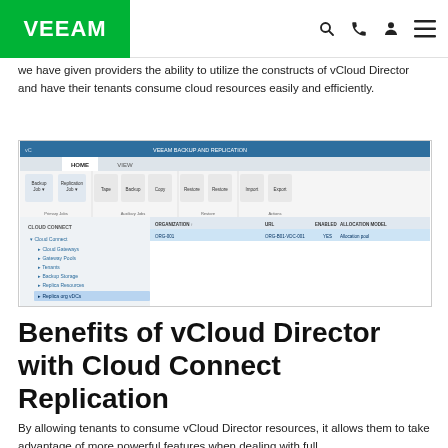VEEAM
we have given providers the ability to utilize the constructs of vCloud Director and have their tenants consume cloud resources easily and efficiently.
[Figure (screenshot): Screenshot of Veeam Backup & Replication software showing Cloud Connect panel with organizations list including ORG-001 with allocation pool settings]
Benefits of vCloud Director with Cloud Connect Replication
By allowing tenants to consume vCloud Director resources, it allows them to take advantage of more powerful features when dealing with full